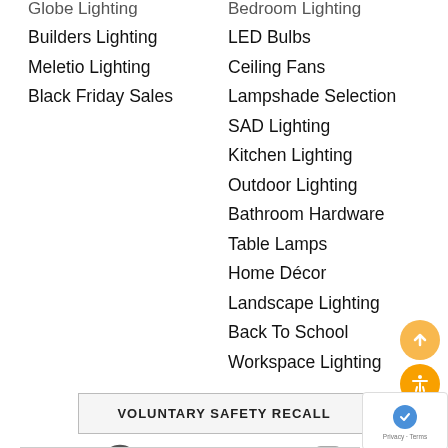Globe Lighting
Builders Lighting
Meletio Lighting
Black Friday Sales
Bedroom Lighting
LED Bulbs
Ceiling Fans
Lampshade Selection
SAD Lighting
Kitchen Lighting
Outdoor Lighting
Bathroom Hardware
Table Lamps
Home Décor
Landscape Lighting
Back To School
Workspace Lighting
VOLUNTARY SAFETY RECALL
[Figure (infographic): Social media icons: Pinterest, Houzz, Facebook, Twitter, Instagram]